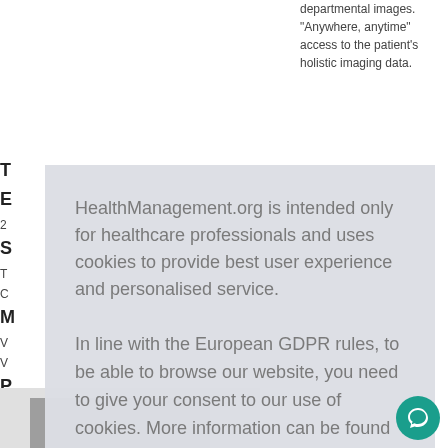departmental images. "Anywhere, anytime" access to the patient's holistic imaging data.
HealthManagement.org is intended only for healthcare professionals and uses cookies to provide best user experience and personalised service.
In line with the European GDPR rules, to be able to browse our website, you need to give your consent to our use of cookies. More information can be found in our Cookie Policy.
I am a healthcare professional and consent to the use of cookies